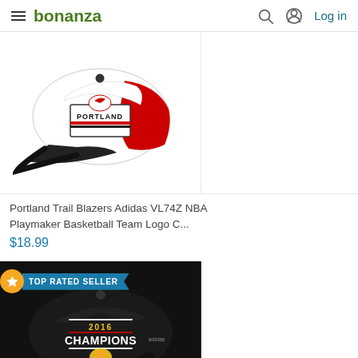bonanza  Log in
[Figure (photo): Portland Trail Blazers NBA cap - white cap with red panel and Trail Blazers logo, black brim, adidas branding]
Portland Trail Blazers Adidas VL74Z NBA Playmaker Basketball Team Logo C...
$18.99
[Figure (photo): Black 2016 Champions NBA cap with yellow text '2016 CHAMPIONS', adidas branding visible, with TOP RATED SELLER badge overlay]